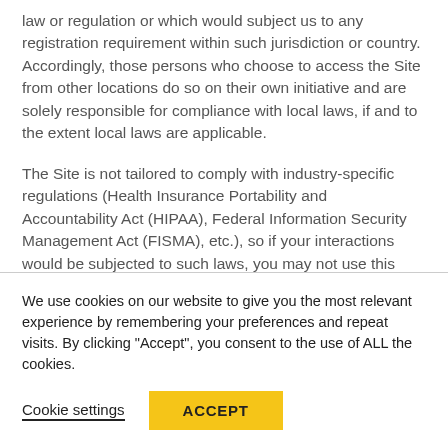law or regulation or which would subject us to any registration requirement within such jurisdiction or country. Accordingly, those persons who choose to access the Site from other locations do so on their own initiative and are solely responsible for compliance with local laws, if and to the extent local laws are applicable.
The Site is not tailored to comply with industry-specific regulations (Health Insurance Portability and Accountability Act (HIPAA), Federal Information Security Management Act (FISMA), etc.), so if your interactions would be subjected to such laws, you may not use this Site. You may not use the Site in a way that would violate the Gramm-Leach-Bliley Act (GLBA).
We use cookies on our website to give you the most relevant experience by remembering your preferences and repeat visits. By clicking "Accept", you consent to the use of ALL the cookies.